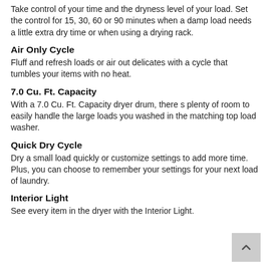Take control of your time and the dryness level of your load. Set the control for 15, 30, 60 or 90 minutes when a damp load needs a little extra dry time or when using a drying rack.
Air Only Cycle
Fluff and refresh loads or air out delicates with a cycle that tumbles your items with no heat.
7.0 Cu. Ft. Capacity
With a 7.0 Cu. Ft. Capacity dryer drum, there s plenty of room to easily handle the large loads you washed in the matching top load washer.
Quick Dry Cycle
Dry a small load quickly or customize settings to add more time. Plus, you can choose to remember your settings for your next load of laundry.
Interior Light
See every item in the dryer with the Interior Light.